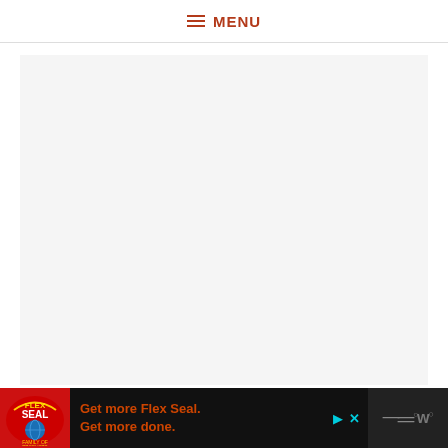≡ MENU
[Figure (other): Light gray empty content area placeholder box]
[Figure (other): Advertisement banner: Flex Seal logo on red background, text 'Get more Flex Seal. Get more done.' in orange-red on dark background, with play and close controls on right, and a dark box with WP logo on far right]